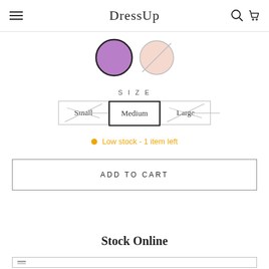DressUp
[Figure (illustration): Two circular color swatches: one filled purple with dark border (selected), one with diagonal line pattern in light pink/peach (unavailable)]
SIZE
[Figure (illustration): Three size selector buttons: Small (with diagonal strikethrough, unavailable), Medium (selected, bold border), Large (with diagonal strikethrough, unavailable)]
Low stock - 1 item left
ADD TO CART
Stock Online